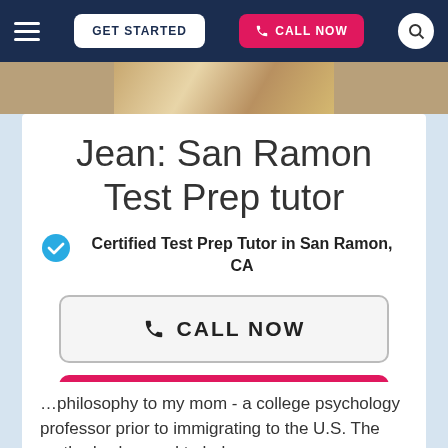GET STARTED  CALL NOW
[Figure (photo): Partial image of a person or book at the top of the tutor profile page]
Jean: San Ramon Test Prep tutor
Certified Test Prep Tutor in San Ramon, CA
CALL NOW
GET STARTED
…philosophy to my mom - a college psychology professor prior to immigrating to the U.S. The methods she used to help